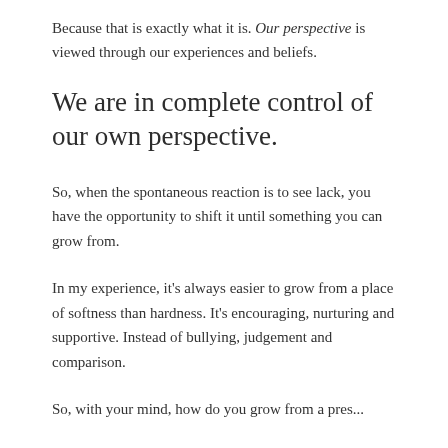Because that is exactly what it is. Our perspective is viewed through our experiences and beliefs.
We are in complete control of our own perspective.
So, when the spontaneous reaction is to see lack, you have the opportunity to shift it until something you can grow from.
In my experience, it's always easier to grow from a place of softness than hardness. It's encouraging, nurturing and supportive. Instead of bullying, judgement and comparison.
...